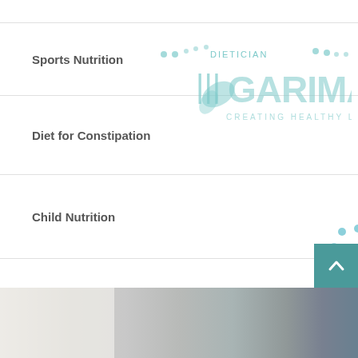Sports Nutrition
Diet for Constipation
Child Nutrition
Pregnancy and Lactations
Senior Citizen Diet Plan
Weight Management
[Figure (logo): Dietician Garima logo with fork and leaf design and text CREATING HEALTHY LIVES]
[Figure (photo): Bottom photo showing dining table setting with dishes and books/phone in background]